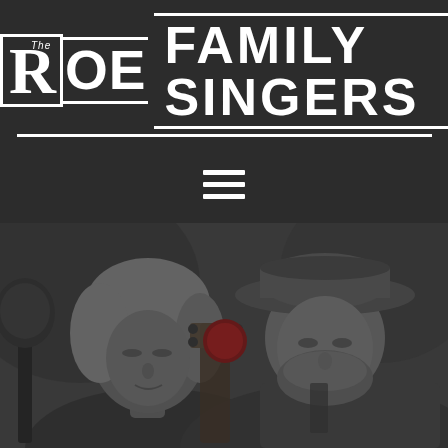The Roe Family Singers
[Figure (logo): The Roe Family Singers logo — large stylized text with block lettering, white on dark background, with decorative borders]
[Figure (other): Hamburger menu icon (three horizontal white lines) on dark background]
[Figure (photo): Black and white photo of two musicians performing: a woman with curly hair near a microphone and a bearded man wearing a wide-brim hat, both looking downward toward instruments. A red circular element (possibly a recording indicator or logo element) is visible in the center of the image.]